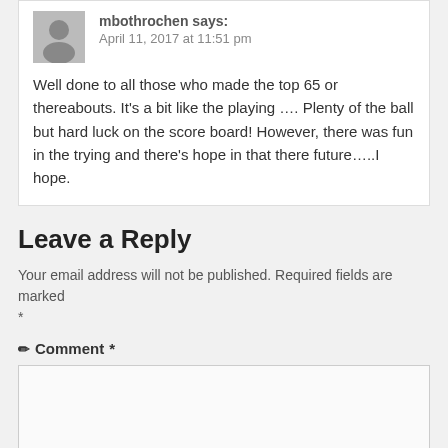mbothrochen says: April 11, 2017 at 11:51 pm
Well done to all those who made the top 65 or thereabouts. It's a bit like the playing …. Plenty of the ball but hard luck on the score board! However, there was fun in the trying and there's hope in that there future…..I hope.
Leave a Reply
Your email address will not be published. Required fields are marked *
Comment *